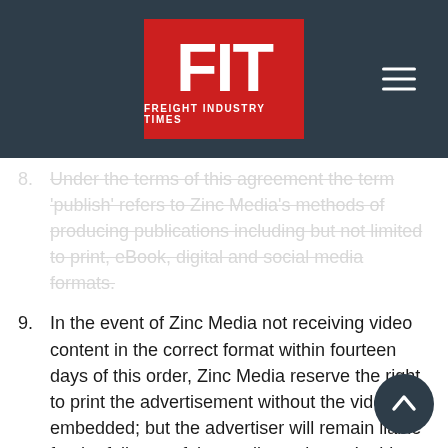[Figure (logo): FIT Freight Industry Times logo on dark navy background with hamburger menu icon]
8. Under the terms of this agreement the term 'publish' refers to Zinc Media's methods of producing publications including but not limited to print, eBook, digital and social media formats.
9. In the event of Zinc Media not receiving video content in the correct format within fourteen days of this order, Zinc Media reserve the right to print the advertisement without the video embedded; but the advertiser will remain liable for the full cost of the media package. In this circumstance, Zinc Media will allow a period of fourteen days after the date of publication in which they will upload video content to a website and provide a hyperlink from the e-book. After this period, video upload will be subject to a mandatory charge of one hundred and fifty pounds excl. VAT.